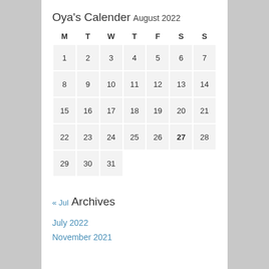Oya's Calender
August 2022
| M | T | W | T | F | S | S |
| --- | --- | --- | --- | --- | --- | --- |
| 1 | 2 | 3 | 4 | 5 | 6 | 7 |
| 8 | 9 | 10 | 11 | 12 | 13 | 14 |
| 15 | 16 | 17 | 18 | 19 | 20 | 21 |
| 22 | 23 | 24 | 25 | 26 | 27 | 28 |
| 29 | 30 | 31 |  |  |  |  |
« Jul
Archives
July 2022
November 2021